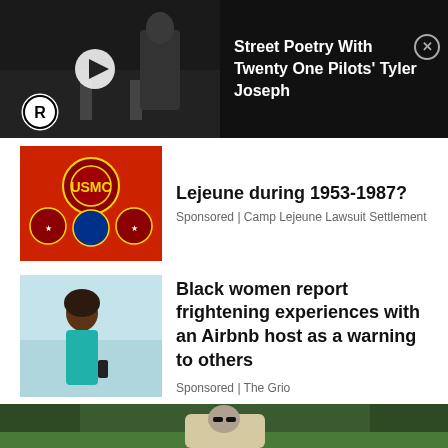[Figure (screenshot): Video thumbnail showing a man in jacket standing on a bridge/road, with play button and R logo overlay. Dark background.]
Street Poetry With Twenty One Pilots' Tyler Joseph
[Figure (photo): Red background with Marine Corps badges and insignia]
Lejeune during 1953-1987?
Sponsored | Camp Lejeune Lawsuit Settlement
[Figure (photo): Black woman in teal bikini top holding phone, standing near water]
Black women report frightening experiences with an Airbnb host as a warning to others
Sponsored | The Grio
[Figure (photo): Elderly bald man with sunglasses sitting in an ornate chair outdoors]